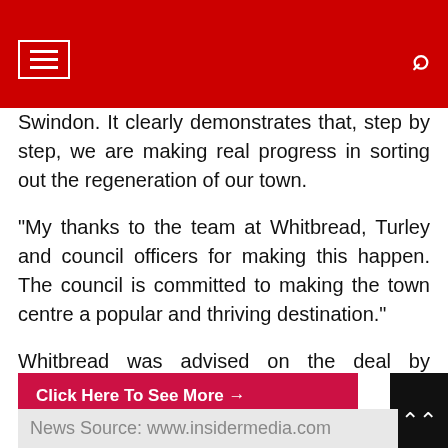Swindon. It clearly demonstrates that, step by step, we are making real progress in sorting out the regeneration of our town.
"My thanks to the team at Whitbread, Turley and council officers for making this happen. The council is committed to making the town centre a popular and thriving destination."
Whitbread was advised on the deal by planning consultancy, Turley.
Click Here To See More →
Feedback/Objection Against This Article →
News Source: www.insidermedia.com